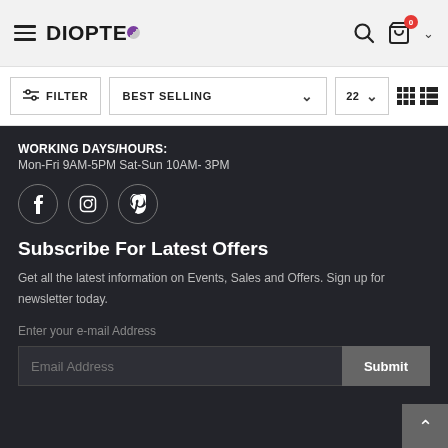DIOPTEO — Navigation header with hamburger menu, logo, search icon, bag icon (0 items), and chevron
FILTER   BEST SELLING ∨   22 ∨   grid view icons
WORKING DAYS/HOURS:
Mon-Fri 9AM-5PM Sat-Sun 10AM- 3PM
[Figure (other): Social media icons: Facebook, Instagram, Pinterest in circular borders]
Subscribe For Latest Offers
Get all the latest information on Events, Sales and Offers. Sign up for newsletter today.
Enter your e-mail Address
Email Address   Submit